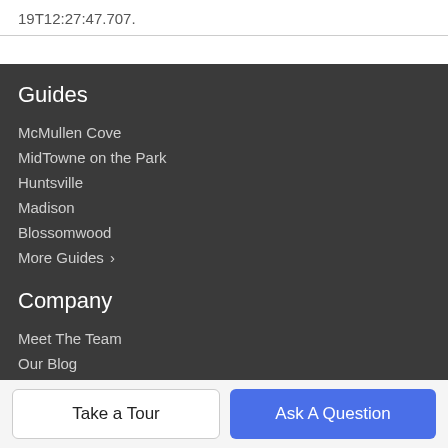19T12:27:47.707.
Guides
McMullen Cove
MidTowne on the Park
Huntsville
Madison
Blossomwood
More Guides ›
Company
Meet The Team
Our Blog
Contact Us
Take a Tour
Ask A Question